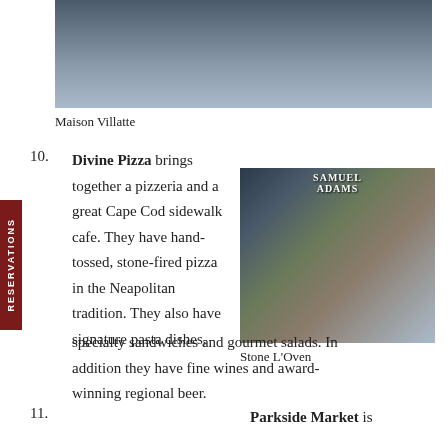[Figure (photo): Top partial photo showing outdoor seating area, chairs and furniture visible]
Maison Villatte
10. Divine Pizza brings together a pizzeria and a great Cape Cod sidewalk cafe. They have hand-tossed, stone-fired pizza in the Neapolitan tradition. They also have signature pasta dishes, specialty sandwiches and gourmet salads. In addition they have fine wines and award-winning regional beer.
[Figure (photo): Outdoor cafe scene with Samuel Adams umbrella, people sitting at tables eating and drinking]
Stone L'Oven
11. Parkside Market is